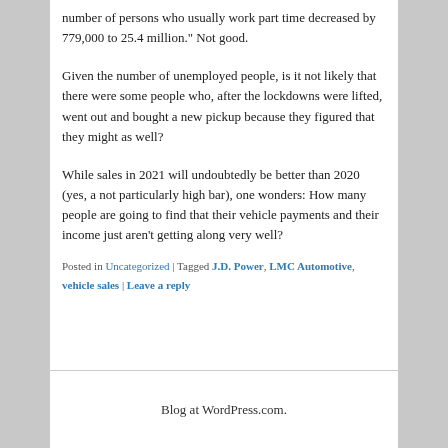number of persons who usually work part time decreased by 779,000 to 25.4 million." Not good.
Given the number of unemployed people, is it not likely that there were some people who, after the lockdowns were lifted, went out and bought a new pickup because they figured that they might as well?
While sales in 2021 will undoubtedly be better than 2020 (yes, a not particularly high bar), one wonders: How many people are going to find that their vehicle payments and their income just aren't getting along very well?
Posted in Uncategorized | Tagged J.D. Power, LMC Automotive, vehicle sales | Leave a reply
Blog at WordPress.com.